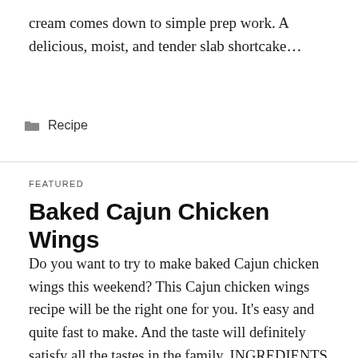cream comes down to simple prep work. A delicious, moist, and tender slab shortcake…
Recipe
FEATURED
Baked Cajun Chicken Wings
Do you want to try to make baked Cajun chicken wings this weekend? This Cajun chicken wings recipe will be the right one for you. It's easy and quite fast to make. And the taste will definitely satisfy all the tastes in the family. INGREDIENTS 12 Chicken wings, tips removed 5 Bay leaves, crumbled into…